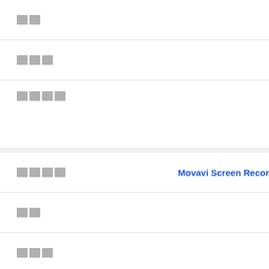| ██ |
| ███ |
| ████ |
| ████ | Movavi Screen Recor |
| ██ |
| ███ |
| ████ |